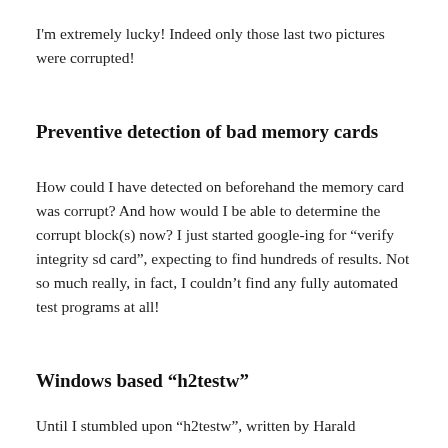I'm extremely lucky! Indeed only those last two pictures were corrupted!
Preventive detection of bad memory cards
How could I have detected on beforehand the memory card was corrupt? And how would I be able to determine the corrupt block(s) now? I just started google-ing for “verify integrity sd card”, expecting to find hundreds of results. Not so much really, in fact, I couldn’t find any fully automated test programs at all!
Windows based “h2testw”
Until I stumbled upon “h2testw”, written by Harald